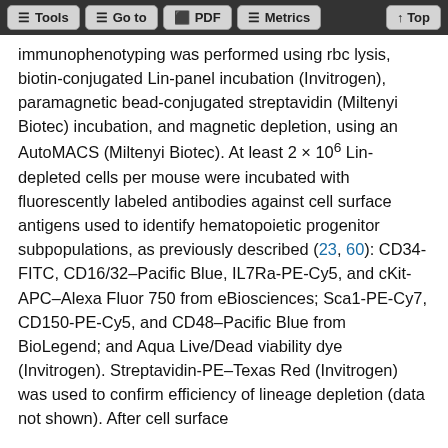Tools | Go to | PDF | Metrics | Top
immunophenotyping was performed using rbc lysis, biotin-conjugated Lin-panel incubation (Invitrogen), paramagnetic bead-conjugated streptavidin (Miltenyi Biotec) incubation, and magnetic depletion, using an AutoMACS (Miltenyi Biotec). At least 2 × 10⁶ Lin-depleted cells per mouse were incubated with fluorescently labeled antibodies against cell surface antigens used to identify hematopoietic progenitor subpopulations, as previously described (23, 60): CD34-FITC, CD16/32–Pacific Blue, IL7Ra-PE-Cy5, and cKit-APC–Alexa Fluor 750 from eBiosciences; Sca1-PE-Cy7, CD150-PE-Cy5, and CD48–Pacific Blue from BioLegend; and Aqua Live/Dead viability dye (Invitrogen). Streptavidin-PE–Texas Red (Invitrogen) was used to confirm efficiency of lineage depletion (data not shown). After cell surface